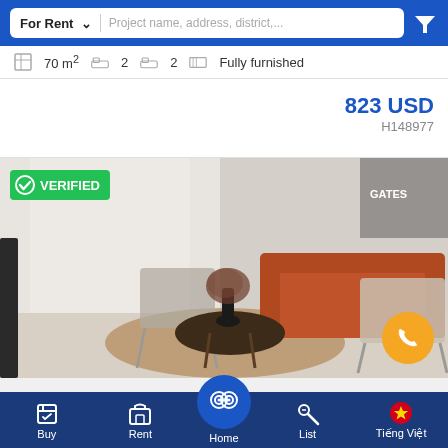For Rent | Project name, address, district,...
70 m²  2  2  Fully furnished
823 USD
H148977
[Figure (photo): Interior photo of a furnished apartment living room with an orange sofa, metal chairs, round coffee table with plant, on a round rug. Green VERIFIED badge in top-left corner. Orange call button in bottom-right.]
Buy  Rent  Home  List  Tiếng Việt